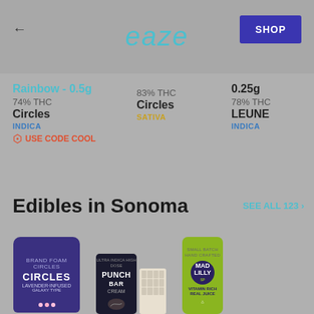eaze
← back
SHOP
Rainbow - 0.5g
74% THC
Circles
INDICA
USE CODE COOL
83% THC
Circles
SATIVA
0.25g
78% THC
LEUNE
INDICA
Edibles in Sonoma
SEE ALL 123 ›
[Figure (photo): Product photos: Circles lavender-infused cannabis gummy bag (purple), Punch Bar chocolate product box with white chocolate bar, Mad Lilly cannabis drink can (green)]